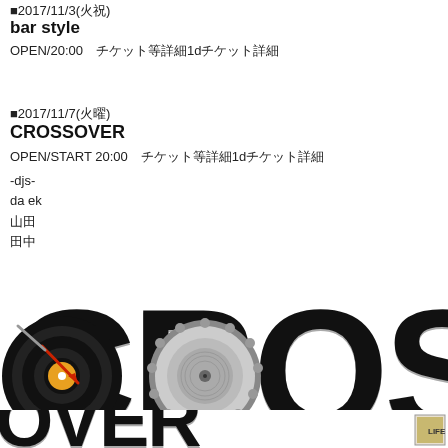■2017/11/3(祝日)
bar style
OPEN/20:00　チケット等詳細1d検索等詳細
■2017/11/7(火曜日)
CROSSOVER
OPEN/START 20:00　チケット等詳細1d検索等詳細
-djs-
da ek
山田
田中
[Figure (logo): CROSSOVER logo with vinyl record and DJ equipment motif in black and white with orange/red accents]